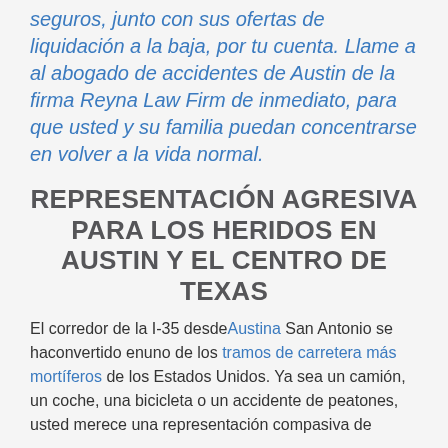seguros, junto con sus ofertas de liquidación a la baja, por tu cuenta. Llame a al abogado de accidentes de Austin de la firma Reyna Law Firm de inmediato, para que usted y su familia puedan concentrarse en volver a la vida normal.
REPRESENTACIÓN AGRESIVA PARA LOS HERIDOS EN AUSTIN Y EL CENTRO DE TEXAS
El corredor de la I-35 desdeAustina San Antonio se haconvertido enuno de los tramos de carretera más mortíferos de los Estados Unidos. Ya sea un camión, un coche, una bicicleta o un accidente de peatones, usted merece una representación compasiva de